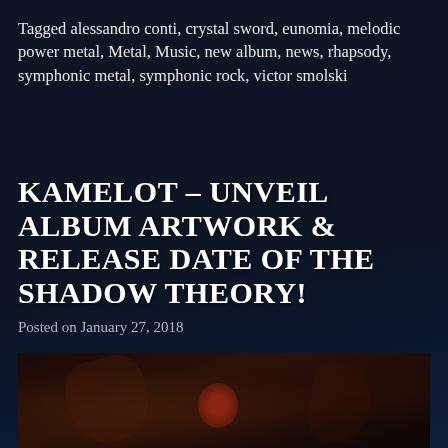Tagged alessandro conti, crystal sword, eunomia, melodic power metal, Metal, Music, new album, news, rhapsody, symphonic metal, symphonic rock, victor smolski
KAMELOT – UNVEIL ALBUM ARTWORK & RELEASE DATE OF THE SHADOW THEORY!
Posted on January 27, 2018
The Shadow Theory is here! Coming on April 6th 2018 via Napalm Records!
[Figure (photo): Dark album artwork image, partially visible at bottom of page, showing dark red and black tones with curved shapes suggesting the Shadow Theory album cover art]